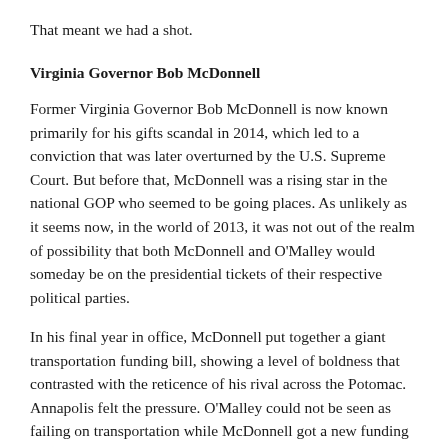That meant we had a shot.
Virginia Governor Bob McDonnell
Former Virginia Governor Bob McDonnell is now known primarily for his gifts scandal in 2014, which led to a conviction that was later overturned by the U.S. Supreme Court. But before that, McDonnell was a rising star in the national GOP who seemed to be going places. As unlikely as it seems now, in the world of 2013, it was not out of the realm of possibility that both McDonnell and O'Malley would someday be on the presidential tickets of their respective political parties.
In his final year in office, McDonnell put together a giant transportation funding bill, showing a level of boldness that contrasted with the reticence of his rival across the Potomac. Annapolis felt the pressure. O'Malley could not be seen as failing on transportation while McDonnell got a new funding package through a state legislature controlled by Republicans.